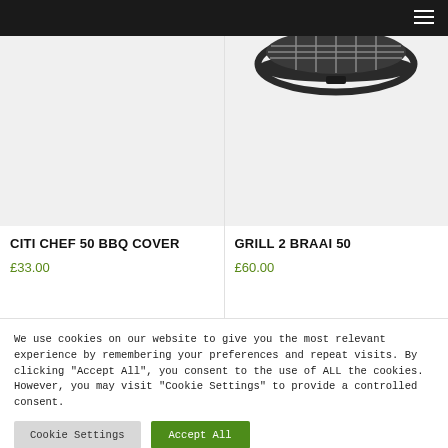Navigation bar with hamburger menu
[Figure (photo): Product image placeholder for Citi Chef 50 BBQ Cover - light grey background]
CITI CHEF 50 BBQ COVER
£33.00
[Figure (photo): Product image for Grill 2 Braai 50 - round grill visible at top on light grey background]
GRILL 2 BRAAI 50
£60.00
We use cookies on our website to give you the most relevant experience by remembering your preferences and repeat visits. By clicking "Accept All", you consent to the use of ALL the cookies. However, you may visit "Cookie Settings" to provide a controlled consent.
Cookie Settings
Accept All